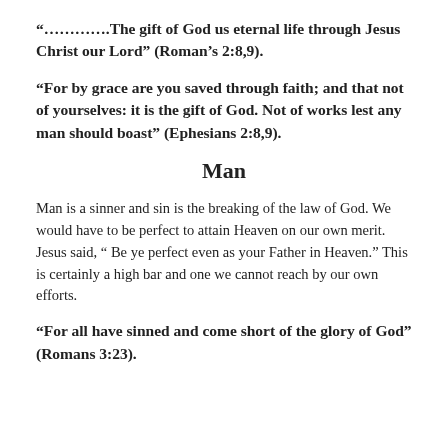“………….The gift of God us eternal life through Jesus Christ our Lord” (Roman’s 2:8,9).
“For by grace are you saved through faith; and that not of yourselves: it is the gift of God. Not of works lest any man should boast” (Ephesians 2:8,9).
Man
Man is a sinner and sin is the breaking of the law of God. We would have to be perfect to attain Heaven on our own merit. Jesus said, “ Be ye perfect even as your Father in Heaven.” This is certainly a high bar and one we cannot reach by our own efforts.
“For all have sinned and come short of the glory of God” (Romans 3:23).